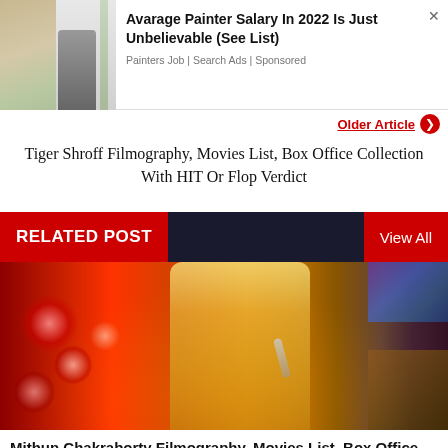[Figure (screenshot): Advertisement banner showing a person painting a wall with ad text about average painter salary in 2022]
Avarage Painter Salary In 2022 Is Just Unbelievable (See List)
Painters Job | Search Ads | Sponsored
Older Article ❯
Tiger Shroff Filmography, Movies List, Box Office Collection With HIT Or Flop Verdict
RELATED POST
View All
[Figure (photo): Artistic stylized photo of Mithun Chakraborty performing with microphone, with red and warm golden tones]
Mithun Chakraborty Filmography, Movies List, Box Office Collection with HIT or Flop Verdict
Addatoday   Apr 26, 2020